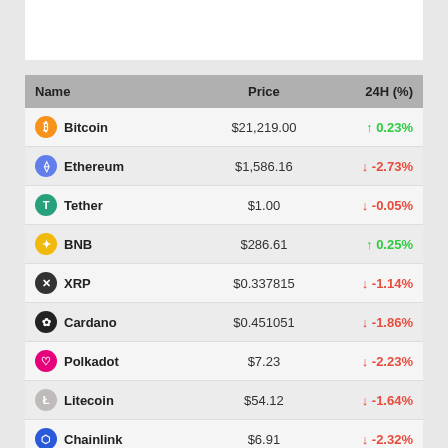| Name | Price | 24H (%) |
| --- | --- | --- |
| Bitcoin | $21,219.00 | ↑ 0.23% |
| Ethereum | $1,586.16 | ↓ -2.73% |
| Tether | $1.00 | ↓ -0.05% |
| BNB | $286.61 | ↑ 0.25% |
| XRP | $0.337815 | ↓ -1.14% |
| Cardano | $0.451051 | ↓ -1.86% |
| Polkadot | $7.23 | ↓ -2.23% |
| Litecoin | $54.12 | ↓ -1.64% |
| Chainlink | $6.91 | ↓ -2.32% |
| Bitcoin Cash | $115.34 | ↓ -0.87% |